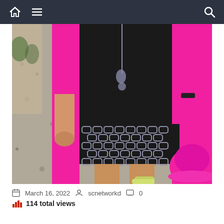Navigation bar with home, menu, and search icons
[Figure (photo): Fashion photo showing a person wearing a bright pink cardigan with gold buttons over a black dress with geometric chain-link pattern at the hem, holding a pink hat, with sneakers visible at the bottom]
March 16, 2022   scnetworkd   0
114 total views